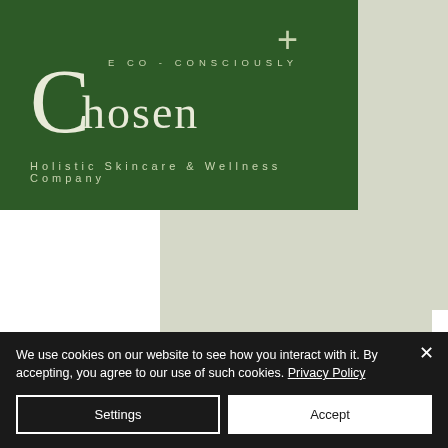[Figure (logo): Eco-Consciously Chosen logo — large serif C with 'hosen' text on dark green background, tagline 'Holistic Skincare & Wellness Company']
We use cookies on our website to see how you interact with it. By accepting, you agree to our use of such cookies. Privacy Policy
Settings
Accept